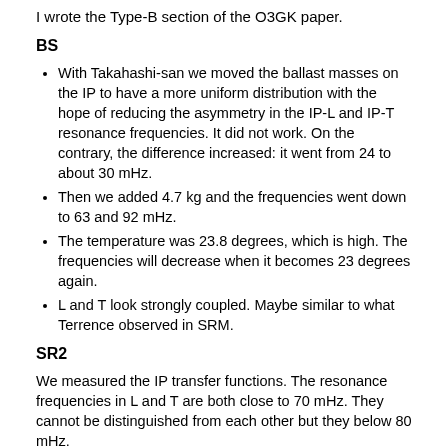I wrote the Type-B section of the O3GK paper.
BS
With Takahashi-san we moved the ballast masses on the IP to have a more uniform distribution with the hope of reducing the asymmetry in the IP-L and IP-T resonance frequencies. It did not work. On the contrary, the difference increased: it went from 24 to about 30 mHz.
Then we added 4.7 kg and the frequencies went down to 63 and 92 mHz.
The temperature was 23.8 degrees, which is high. The frequencies will decrease when it becomes 23 degrees again.
L and T look strongly coupled. Maybe similar to what Terrence observed in SRM.
SR2
We measured the IP transfer functions. The resonance frequencies in L and T are both close to 70 mHz. They cannot be distinguished from each other but they below 80 mHz.